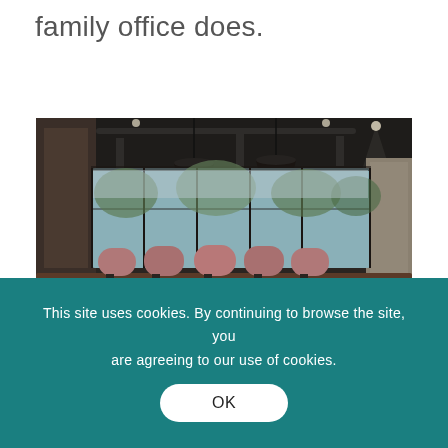family office does.
[Figure (photo): Interior of a modern dark conference room with pendant lights hanging from the ceiling, large panoramic windows overlooking trees, and pink/mauve chairs arranged around a long table. Dark wood walls and striped floor visible.]
This site uses cookies. By continuing to browse the site, you are agreeing to our use of cookies.
OK